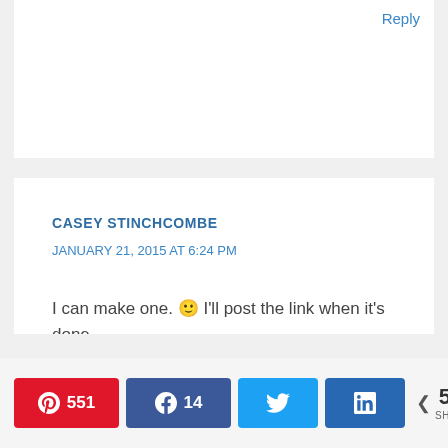Reply
CASEY STINCHCOMBE
JANUARY 21, 2015 AT 6:24 PM
I can make one. 🙂 I'll post the link when it's done.
Reply
[Figure (infographic): Social share buttons bar with Pinterest (551), Facebook (14), Twitter, LinkedIn icons and total 565 SHARES]